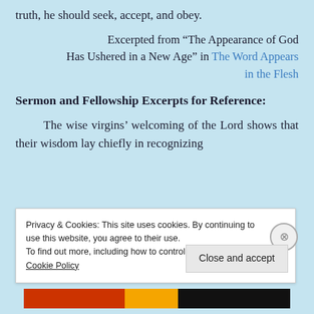truth, he should seek, accept, and obey.
Excerpted from “The Appearance of God Has Ushered in a New Age” in The Word Appears in the Flesh
Sermon and Fellowship Excerpts for Reference:
The wise virgins’ welcoming of the Lord shows that their wisdom lay chiefly in recognizing
Privacy & Cookies: This site uses cookies. By continuing to use this website, you agree to their use.
To find out more, including how to control cookies, see here:
Cookie Policy
Close and accept